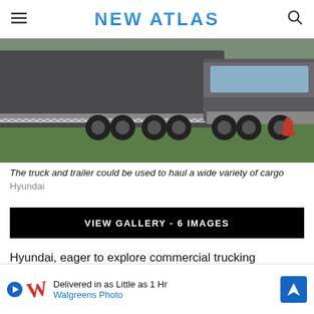NEW ATLAS
[Figure (photo): Aerial/side view of a futuristic Hyundai HDC-6 Neptune concept truck with dark gray trailer on a road, with green grass and a fire hydrant visible in the background.]
The truck and trailer could be used to haul a wide variety of cargo  Hyundai
VIEW GALLERY - 6 IMAGES
Hyundai, eager to explore commercial trucking opportunities in the US, has debuted a hydrogen-powered Class 8 heavy truck, the HDC-6 Neptune Concept. Unveiled at the North American Commercial Vehicle Show, the H…